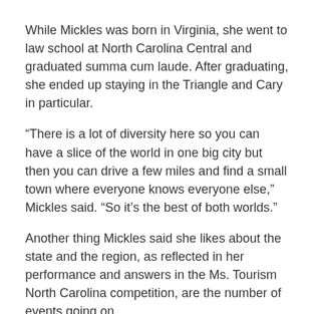While Mickles was born in Virginia, she went to law school at North Carolina Central and graduated summa cum laude. After graduating, she ended up staying in the Triangle and Cary in particular.
“There is a lot of diversity here so you can have a slice of the world in one big city but then you can drive a few miles and find a small town where everyone knows everyone else,” Mickles said. “So it’s the best of both worlds.”
Another thing Mickles said she likes about the state and the region, as reflected in her performance and answers in the Ms. Tourism North Carolina competition, are the number of events going on.
“Every weekend there is some kind of festival or big, fun thing to do,” Mickles said. “I have never been bored here and that is very different from my home town.”